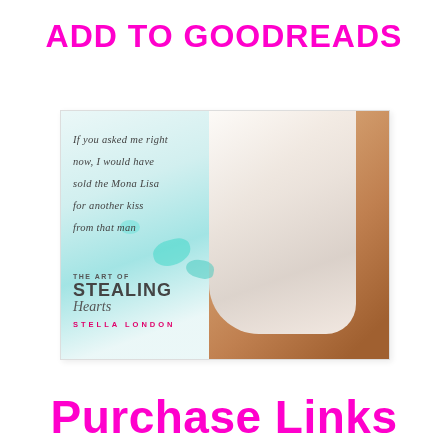ADD TO GOODREADS
[Figure (illustration): Book teaser image for 'The Art of Stealing Hearts' by Stella London. Left side shows a light blue-green watercolor background with italic quote text: 'If you asked me right now, I would have sold the Mona Lisa for another kiss from that man.' Bottom left has the book title and author name. Right side shows a shirtless man in a white open shirt, cropped at the chin and torso.]
Purchase Links